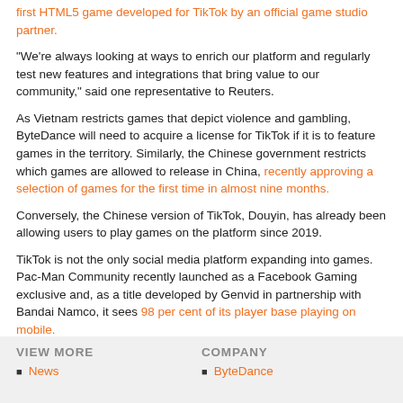first HTML5 game developed for TikTok by an official game studio partner.
"We're always looking at ways to enrich our platform and regularly test new features and integrations that bring value to our community," said one representative to Reuters.
As Vietnam restricts games that depict violence and gambling, ByteDance will need to acquire a license for TikTok if it is to feature games in the territory. Similarly, the Chinese government restricts which games are allowed to release in China, recently approving a selection of games for the first time in almost nine months.
Conversely, the Chinese version of TikTok, Douyin, has already been allowing users to play games on the platform since 2019.
TikTok is not the only social media platform expanding into games. Pac-Man Community recently launched as a Facebook Gaming exclusive and, as a title developed by Genvid in partnership with Bandai Namco, it sees 98 per cent of its player base playing on mobile.
TAGS: #China #Rumour #TikTok #in-app
VIEW MORE
News
COMPANY
ByteDance